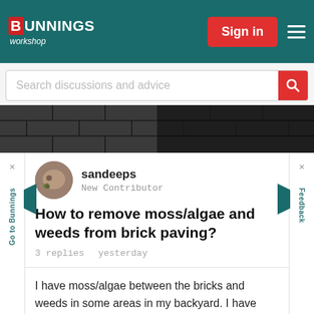BUNNINGS workshop — Sign in
Search discussions and advice
[Figure (photo): Dark wet brick paving surface viewed from above]
sandeeps
New Contributor
How to remove moss/algae and weeds from brick paving?
3 replies   yesterday
I have moss/algae between the bricks and weeds in some areas in my backyard. I have tried pressure washing a small section, it does help to get rid of ...
[Figure (photo): Close-up photo of brick paving with green weeds/moss growing between the bricks]